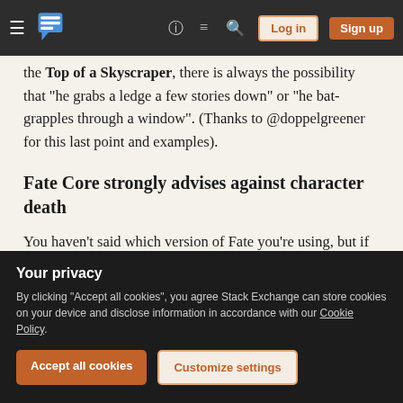Stack Exchange navigation bar with Log in and Sign up buttons
the Top of a Skyscraper, there is always the possibility that "he grabs a ledge a few stories down" or "he bat-grapples through a window". (Thanks to @doppelgreener for this last point and examples).
Fate Core strongly advises against character death
You haven't said which version of Fate you're using, but if we take Fate Core as a benchmark, there is a whole section on Character Death on page 168. It allows for
putting the character through hell.